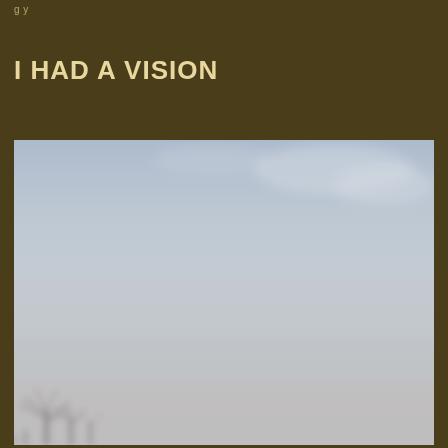I HAD A VISION
[Figure (photo): A misty, foggy landscape photograph showing a pale blue-grey sky with soft clouds, transitioning to a hazy, fog-filled lower portion. Bare tree silhouettes are barely visible in the bottom-left corner. The overall scene is very muted in color, dominated by soft blue-grey and white tones with dense fog obscuring the landscape.]